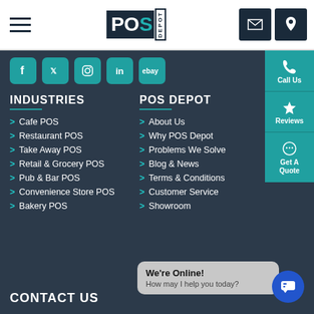[Figure (logo): POS DEPOT logo with hamburger menu and contact icons in top navigation bar]
[Figure (infographic): Social media icons row: Facebook, Twitter, Instagram, LinkedIn, eBay in teal rounded squares]
INDUSTRIES
Cafe POS
Restaurant POS
Take Away POS
Retail & Grocery POS
Pub & Bar POS
Convenience Store POS
Bakery POS
POS DEPOT
About Us
Why POS Depot
Problems We Solve
Blog & News
Terms & Conditions
Customer Service
Showroom
CONTACT US
We're Online! How may I help you today?